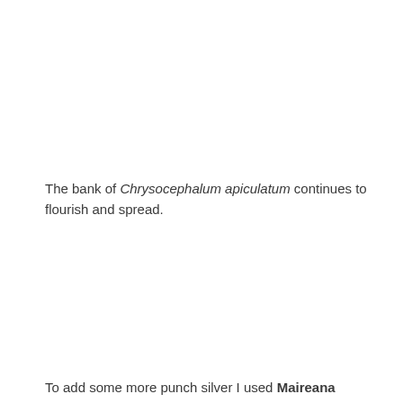The bank of Chrysocephalum apiculatum continues to flourish and spread.
To add some more punch silver I used Maireana